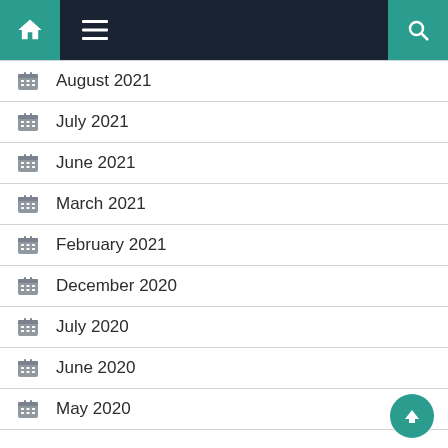Navigation bar with home, menu, and search
August 2021
July 2021
June 2021
March 2021
February 2021
December 2020
July 2020
June 2020
May 2020